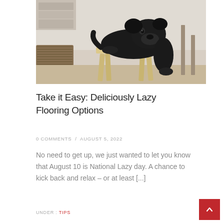[Figure (photo): A black pug dog draped over a small wooden stool, with wicker baskets and shelves in the background.]
Take it Easy: Deliciously Lazy Flooring Options
0 COMMENTS / AUGUST 5, 2022
No need to get up, we just wanted to let you know that August 10 is National Lazy day. A chance to kick back and relax – or at least [...]
UNDER : TIPS